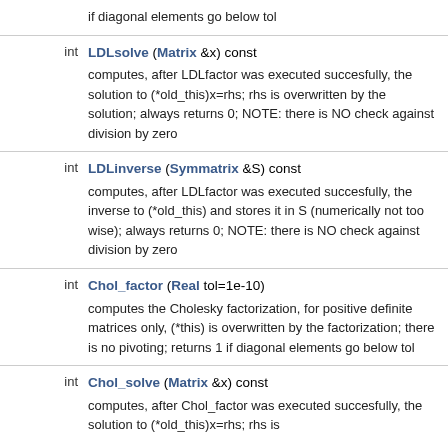if diagonal elements go below tol
int LDLsolve (Matrix &x) const
computes, after LDLfactor was executed succesfully, the solution to (*old_this)x=rhs; rhs is overwritten by the solution; always returns 0; NOTE: there is NO check against division by zero
int LDLinverse (Symmatrix &S) const
computes, after LDLfactor was executed succesfully, the inverse to (*old_this) and stores it in S (numerically not too wise); always returns 0; NOTE: there is NO check against division by zero
int Chol_factor (Real tol=1e-10)
computes the Cholesky factorization, for positive definite matrices only, (*this) is overwritten by the factorization; there is no pivoting; returns 1 if diagonal elements go below tol
int Chol_solve (Matrix &x) const
computes, after Chol_factor was executed succesfully, the solution to (*old_this)x=rhs; rhs is overwritten by the solution; always returns 0;